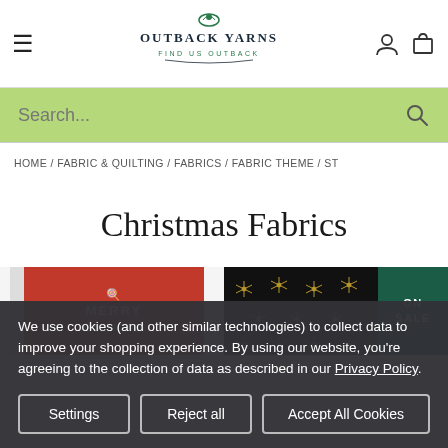Outback Yarns — Find us Outback
Search...
HOME / FABRIC & QUILTING / FABRICS / FABRIC THEME / ST...
Christmas Fabrics
[Figure (photo): Two Christmas fabric product images. Left: red fabric with 'Merry Christmas' text in white. Right: dark/black fabric with gold snowflake pattern, with a dark green 'ON SALE' badge.]
We use cookies (and other similar technologies) to collect data to improve your shopping experience. By using our website, you're agreeing to the collection of data as described in our Privacy Policy.
Settings  Reject all  Accept All Cookies